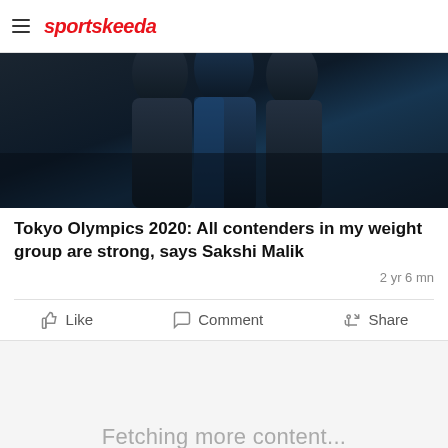sportskeeda
[Figure (photo): Dark photograph showing athletic/sports figures in dark uniforms, mostly silhouetted]
Tokyo Olympics 2020: All contenders in my weight group are strong, says Sakshi Malik
2 yr 6 mn
Like  Comment  Share
Fetching more content...